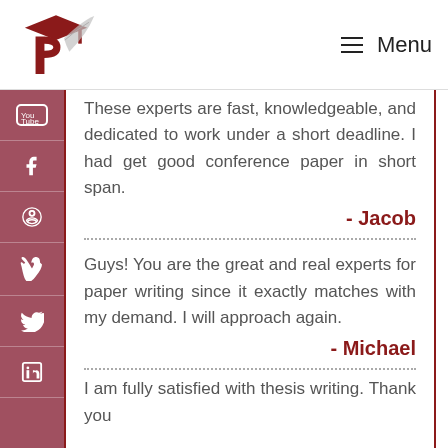[Figure (logo): PaperWritingServices logo with graduation cap and quill]
Menu
These experts are fast, knowledgeable, and dedicated to work under a short deadline. I had get good conference paper in short span.
- Jacob
Guys! You are the great and real experts for paper writing since it exactly matches with my demand. I will approach again.
- Michael
I am fully satisfied with thesis writing. Thank you